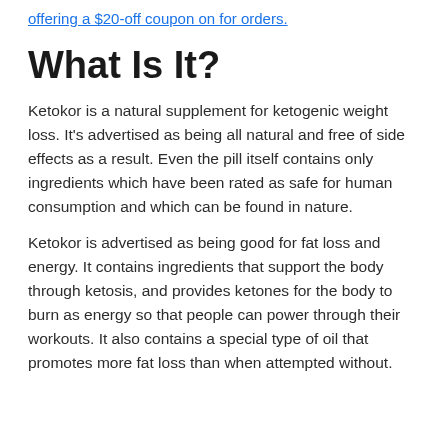offering a $20-off coupon on for orders.
What Is It?
Ketokor is a natural supplement for ketogenic weight loss. It's advertised as being all natural and free of side effects as a result. Even the pill itself contains only ingredients which have been rated as safe for human consumption and which can be found in nature.
Ketokor is advertised as being good for fat loss and energy. It contains ingredients that support the body through ketosis, and provides ketones for the body to burn as energy so that people can power through their workouts. It also contains a special type of oil that promotes more fat loss than when attempted without.